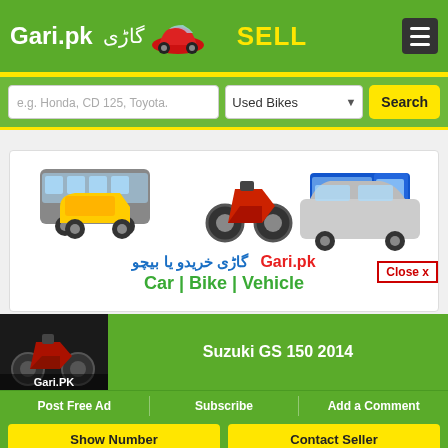Gari.pk گاڑی SELL
e.g. Honda, CD 125, Toyota.
Used Bikes
Search
[Figure (illustration): Advertisement banner showing various vehicles: a bus, motorcycle, truck, auto-rickshaw, and SUV. Text reads 'گاڑی خریدو یا بیچو' and 'Gari.pk' and 'Car | Bike | Vehicle']
Close x
Suzuki GS 150 2014
Post Free Ad   Subscribe   Add a Comment
Show Number
Contact Seller